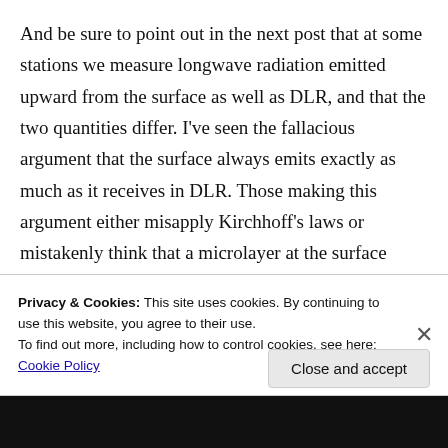And be sure to point out in the next post that at some stations we measure longwave radiation emitted upward from the surface as well as DLR, and that the two quantities differ. I've seen the fallacious argument that the surface always emits exactly as much as it receives in DLR. Those making this argument either misapply Kirchhoff's laws or mistakenly think that a microlayer at the surface heats up extremely rapidly to a temperature sufficient to produce an upwelling flux equal to the DLR.
Privacy & Cookies: This site uses cookies. By continuing to use this website, you agree to their use.
To find out more, including how to control cookies, see here: Cookie Policy
Close and accept